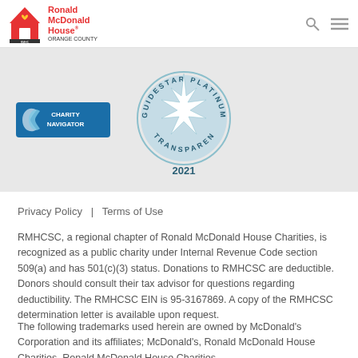Ronald McDonald House Orange County
[Figure (logo): Charity Navigator logo (blue badge with compass design) and GuideStar Platinum Transparency 2021 seal (circular badge with star)]
Privacy Policy  |  Terms of Use
RMHCSC, a regional chapter of Ronald McDonald House Charities, is recognized as a public charity under Internal Revenue Code section 509(a) and has 501(c)(3) status. Donations to RMHCSC are deductible. Donors should consult their tax advisor for questions regarding deductibility. The RMHCSC EIN is 95-3167869. A copy of the RMHCSC determination letter is available upon request.
The following trademarks used herein are owned by McDonald's Corporation and its affiliates; McDonald's, Ronald McDonald House Charities, Ronald McDonald House Charities